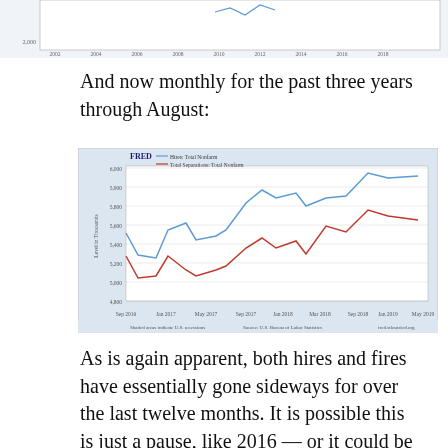[Figure (continuous-plot): Top partial chart clipped from previous page showing a line graph with years 2002-2018 on x-axis, partial view of lines]
And now monthly for the past three years through August:
[Figure (line-chart): FRED chart showing two lines: blue (Hires Total Nonfarm) and red (Total Separations Total Nonfarm) from Sep 2016 to May 2019, both trending upward with volatility]
As is again apparent, both hires and fires have essentially gone sideways for over the last twelve months. It is possible this is just a pause, like 2016 — or it could be that both are at a turning point